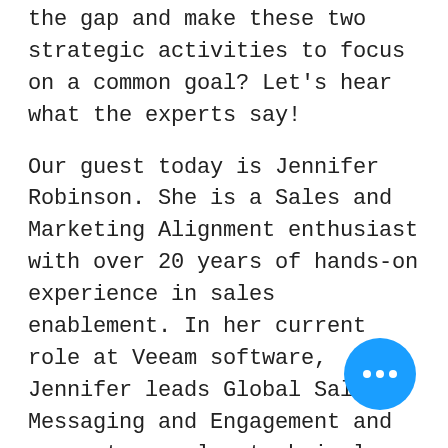the gap and make these two strategic activities to focus on a common goal? Let's hear what the experts say!
Our guest today is Jennifer Robinson. She is a Sales and Marketing Alignment enthusiast with over 20 years of hands-on experience in sales enablement. In her current role at Veeam software, Jennifer leads Global Sales Messaging and Engagement and converts complex technical information into easy to understand positioning that helps sales in street-level customer conversations. When I first spoke with Jennifer, I felt an instant connection. We both sh a passion for aligning sales and marketing. In our conversation today,